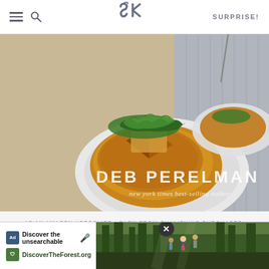SK SURPRISE!
[Figure (photo): Book cover photo showing a cookbook by Deb Perelman, New York Times best-selling author. The cover features a frittata or potato dish on a white plate with arugula on top, displayed in a 3D book mockup format.]
AS AN AMAZON ASSOCIATE I EARN FROM QUALIFYING PURCHASES.
©2009–2022 SMITTEN KITCHEN. PROUDLY POWERED BY WORDPRESS. HOSTED BY PRESSABLE.
[Figure (screenshot): Ad banner for DiscoverTheForest.org with text 'Discover the unsearchable' and a photo of people in a forest. Contains a close button (X) in the upper right.]